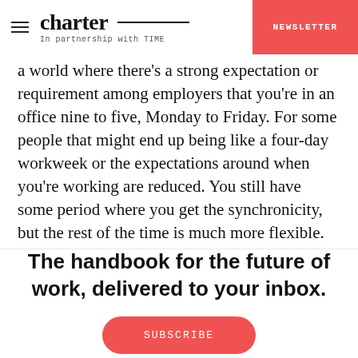charter — In partnership with TIME | NEWSLETTER
a world where there's a strong expectation or requirement among employers that you're in an office nine to five, Monday to Friday. For some people that might end up being like a four-day workweek or the expectations around when you're working are reduced. You still have some period where you get the synchronicity, but the rest of the time is much more flexible. It's hard for me to imagine both
The handbook for the future of work, delivered to your inbox.
SUBSCRIBE